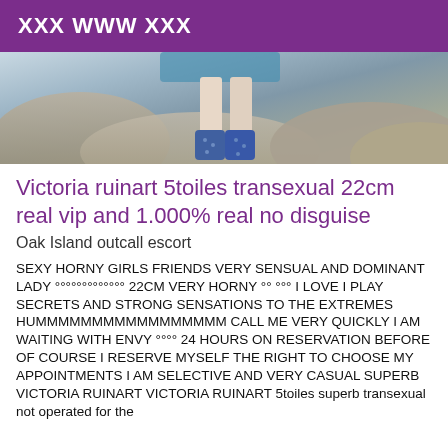XXX WWW XXX
[Figure (photo): Cropped photo showing legs and blue patterned boots/shoes on rocky terrain]
Victoria ruinart 5toiles transexual 22cm real vip and 1.000% real no disguise
Oak Island outcall escort
SEXY HORNY GIRLS FRIENDS VERY SENSUAL AND DOMINANT LADY °°°°°°°°°°°°° 22CM VERY HORNY °° °°° I LOVE I PLAY SECRETS AND STRONG SENSATIONS TO THE EXTREMES HUMMMMMMMMMMMMMMMMM CALL ME VERY QUICKLY I AM WAITING WITH ENVY °°°° 24 HOURS ON RESERVATION BEFORE OF COURSE I RESERVE MYSELF THE RIGHT TO CHOOSE MY APPOINTMENTS I AM SELECTIVE AND VERY CASUAL SUPERB VICTORIA RUINART VICTORIA RUINART 5toiles superb transexual not operated for the